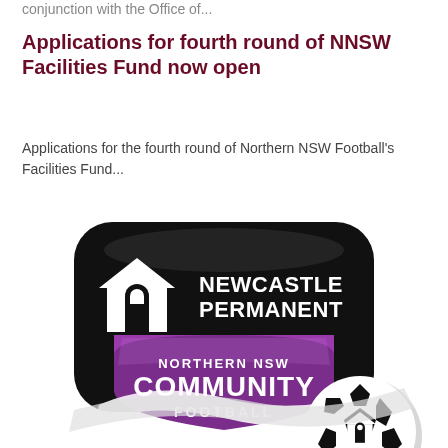conjunction with the Office of...
Applications for fourth round of NNSW Facilities Fund now open
Applications for the fourth round of Northern NSW Football's Facilities Fund...
[Figure (logo): Newcastle Permanent Northern NSW Community Football logo with a soccer ball. Black rounded rectangle with Newcastle Permanent branding at top, purple shield with 'Northern NSW Community Football' text, and a black-and-white soccer ball with the Newcastle Permanent building logo icon.]